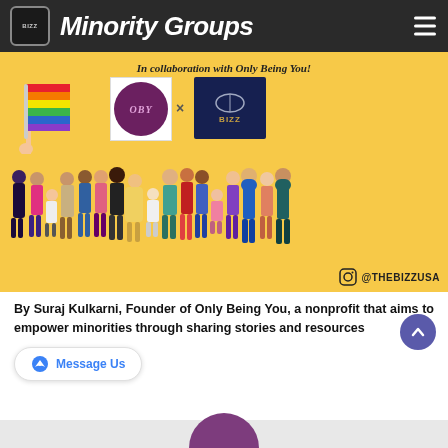Minority Groups
[Figure (illustration): Featured banner image on yellow background showing: 'In collaboration with Only Being You!' text, rainbow pride flag, OBY circular logo, X symbol, TheBizz square logo, diverse group of people illustration, and Instagram handle @THEBIZZUSA]
By Suraj Kulkarni, Founder of Only Being You, a nonprofit that aims to empower minorities through sharing stories and resources
Message Us